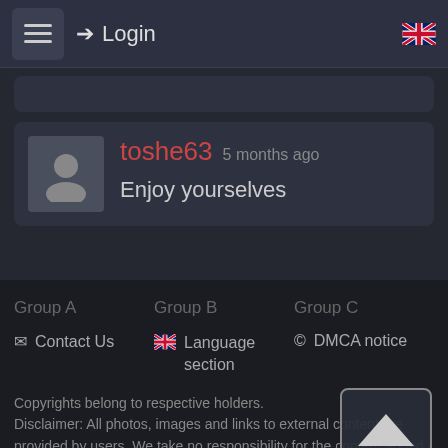Login
toshe63 5 months ago
Enjoy yourselves
Group A
Group B
Group C
Contact Us
Language section
DMCA notice
Copyrights belong to respective holders.
Disclaimer: All photos, images and links to external content are provided by users. We take no responsibility for the content added / uploaded by users.